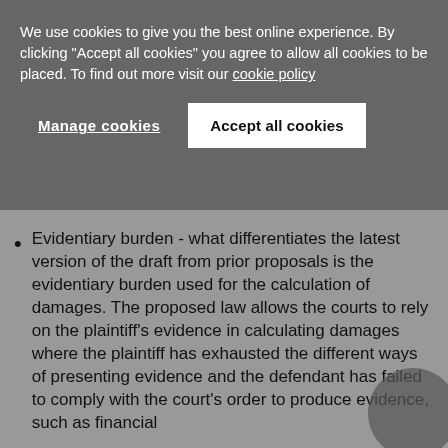We use cookies to give you the best online experience. By clicking "Accept all cookies" you agree to allow all cookies to be placed. To find out more visit our cookie policy
Manage cookies | Accept all cookies
Evidentiary burden - what differentiates the latest version of the draft from prior proposals is the evidentiary burden used for the calculation of damages. The proposed law allows the courts to rely on the plaintiff's evidence in calculating damages where the plaintiff has exhausted the different ways of presenting evidence and the defendant has failed to comply with the court's order to produce evidence, such as financial